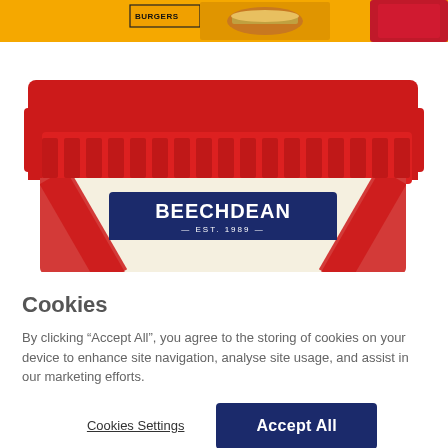[Figure (photo): Orange banner at top of webpage showing burger/food product advertisement with the text 'BURGERS' visible, food images including burger and drink]
[Figure (photo): Beechdean branded ice cream tub with red lid and red diagonal stripe design on cream background, navy blue label reading 'BEECHDEAN EST. 1989']
Cookies
By clicking “Accept All”, you agree to the storing of cookies on your device to enhance site navigation, analyse site usage, and assist in our marketing efforts.
Cookies Settings
Accept All